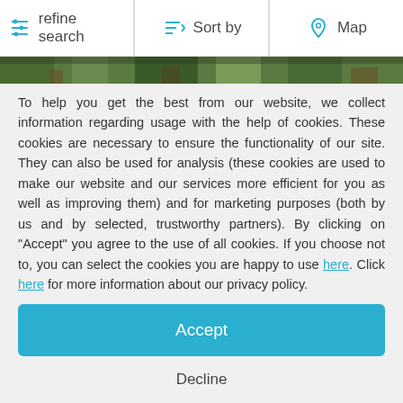refine search   Sort by   Map
[Figure (photo): Partial image strip showing vegetation/plants at the top of the content area]
To help you get the best from our website, we collect information regarding usage with the help of cookies. These cookies are necessary to ensure the functionality of our site. They can also be used for analysis (these cookies are used to make our website and our services more efficient for you as well as improving them) and for marketing purposes (both by us and by selected, trustworthy partners). By clicking on "Accept" you agree to the use of all cookies. If you choose not to, you can select the cookies you are happy to use here. Click here for more information about our privacy policy.
Accept
Decline
Configure